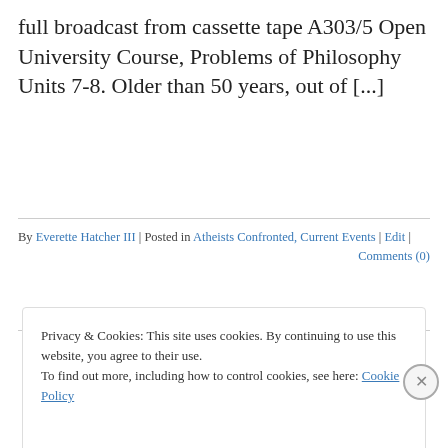full broadcast from cassette tape A303/5 Open University Course, Problems of Philosophy Units 7-8. Older than 50 years, out of [...]
By Everette Hatcher III | Posted in Atheists Confronted, Current Events | Edit | Comments (0)
Advertisements
Privacy & Cookies: This site uses cookies. By continuing to use this website, you agree to their use.
To find out more, including how to control cookies, see here: Cookie Policy
Close and accept